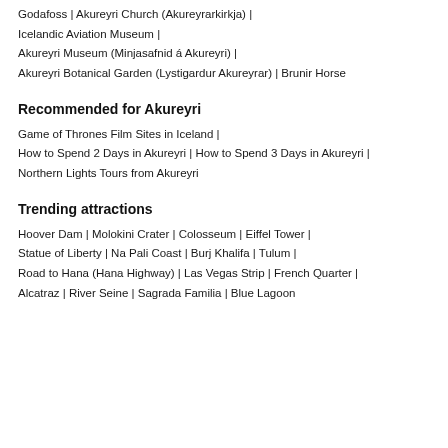Godafoss | Akureyri Church (Akureyrarkirkja) |
Icelandic Aviation Museum |
Akureyri Museum (Minjasafnid á Akureyri) |
Akureyri Botanical Garden (Lystigardur Akureyrar) | Brunir Horse
Recommended for Akureyri
Game of Thrones Film Sites in Iceland |
How to Spend 2 Days in Akureyri | How to Spend 3 Days in Akureyri |
Northern Lights Tours from Akureyri
Trending attractions
Hoover Dam | Molokini Crater | Colosseum | Eiffel Tower |
Statue of Liberty | Na Pali Coast | Burj Khalifa | Tulum |
Road to Hana (Hana Highway) | Las Vegas Strip | French Quarter |
Alcatraz | River Seine | Sagrada Familia | Blue Lagoon